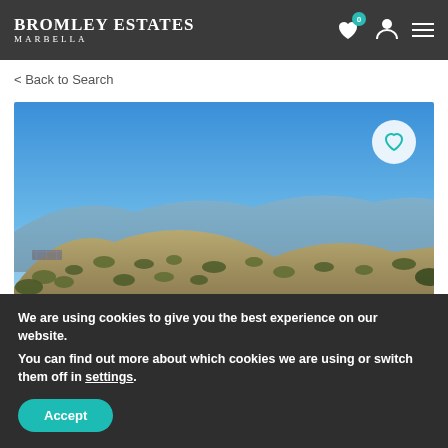BROMLEY ESTATES MARBELLA
< Back to Search
[Figure (photo): Panoramic landscape photo showing a hillside with sparse vegetation, mountains in the background, and a clear blue sky. A circular heart/favorite button is overlaid in the top-right corner of the image.]
We are using cookies to give you the best experience on our website.
You can find out more about which cookies we are using or switch them off in settings.
Accept